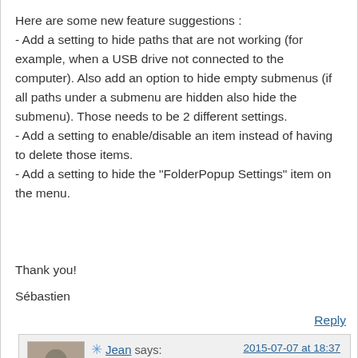Here are some new feature suggestions :
- Add a setting to hide paths that are not working (for example, when a USB drive not connected to the computer). Also add an option to hide empty submenus (if all paths under a submenu are hidden also hide the submenu). Those needs to be 2 different settings.
- Add a setting to enable/disable an item instead of having to delete those items.
- Add a setting to hide the "FolderPopup Settings" item on the menu.

Thank you!

Sébastien
Reply
Jean says: 2015-07-07 at 18:37
Noted. Please post additional suggestions to Quick Access Popup website. This is